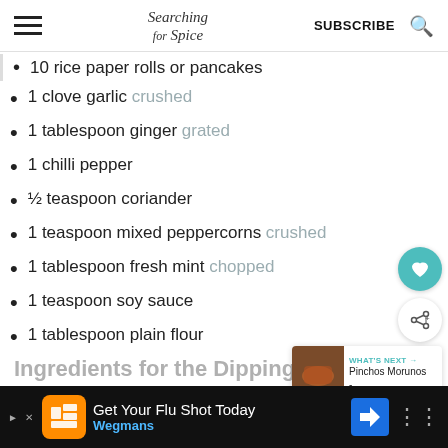Searching for Spice | SUBSCRIBE
10 rice paper rolls or pancakes
1 clove garlic crushed
1 tablespoon ginger grated
1 chilli pepper
½ teaspoon coriander
1 teaspoon mixed peppercorns crushed
1 tablespoon fresh mint chopped
1 teaspoon soy sauce
1 tablespoon plain flour
Ingredients for the Dipping
Ad: Get Your Flu Shot Today - Wegmans